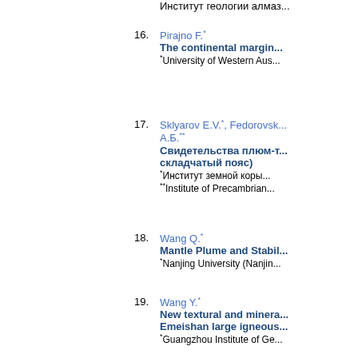Институт геологии алмаз...
16. Pirajno F.* The continental margin... *University of Western Aus...
17. Sklyarov E.V.*, Fedorovsk... А.Б.** Свидетельства плюм-т... складчатый пояс) *Институт земной коры... **Institute of Precambrian...
18. Wang Q.* Mantle Plume and Stabil... *Nanjing University (Nanjin...
19. Wang Y.* New textural and minera... Emeishan large igneous... *Guangzhou Institute of Ge...
20. Xu Y.* Contrasting plume-lithos... China *Guangzhou Institute of Ge...
21. Алексеев В.И.*, Марин Ю... Сходство рудно-магмат... фтористых гранитов *National university of mine...